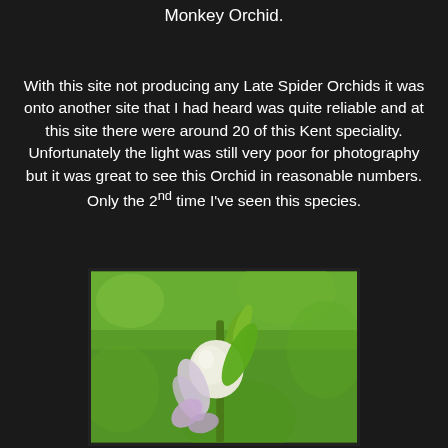Monkey Orchid.
With this site not producing any Late Spider Orchids it was onto another site that I had heard was quite reliable and at this site there were around 20 of this Kent speciality. Unfortunately the light was still very poor for photography but it was great to see this Orchid in reasonable numbers. Only the 2nd time I've seen this species.
[Figure (photo): Close-up photograph of a Monkey Orchid bud and petals against a soft green blurred background. The flower shows pale lavender/white petals and a green bud at the top.]